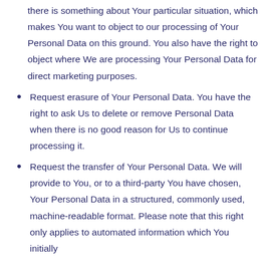there is something about Your particular situation, which makes You want to object to our processing of Your Personal Data on this ground. You also have the right to object where We are processing Your Personal Data for direct marketing purposes.
Request erasure of Your Personal Data. You have the right to ask Us to delete or remove Personal Data when there is no good reason for Us to continue processing it.
Request the transfer of Your Personal Data. We will provide to You, or to a third-party You have chosen, Your Personal Data in a structured, commonly used, machine-readable format. Please note that this right only applies to automated information which You initially